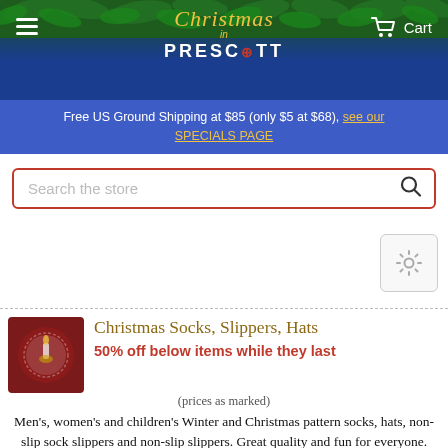Christmas in Prescott — Cart
Free US Ground Shipping at $85 (only $5 at $68), see our SPECIALS PAGE
Search the store
Christmas Socks, Slippers, Hats
50% off below items while they last
(prices as marked)
Men's, women's and children's Winter and Christmas pattern socks, hats, non-slip sock slippers and non-slip slippers. Great quality and fun for everyone.
<< Table Linens    Linens, Attire Main Page >>